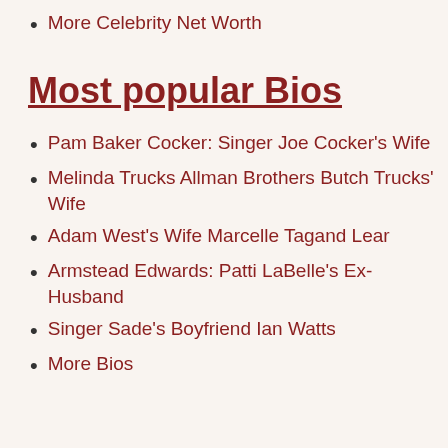More Celebrity Net Worth
Most popular Bios
Pam Baker Cocker: Singer Joe Cocker's Wife
Melinda Trucks Allman Brothers Butch Trucks' Wife
Adam West's Wife Marcelle Tagand Lear
Armstead Edwards: Patti LaBelle's Ex- Husband
Singer Sade's Boyfriend Ian Watts
More Bios